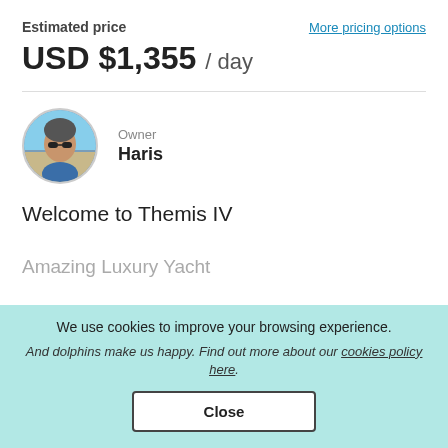Estimated price
More pricing options
USD $1,355 / day
[Figure (photo): Circular profile photo of owner Haris, a man wearing sunglasses outdoors]
Owner
Haris
Welcome to Themis IV
Amazing Luxury Yacht
We use cookies to improve your browsing experience.
And dolphins make us happy. Find out more about our cookies policy here.
Close